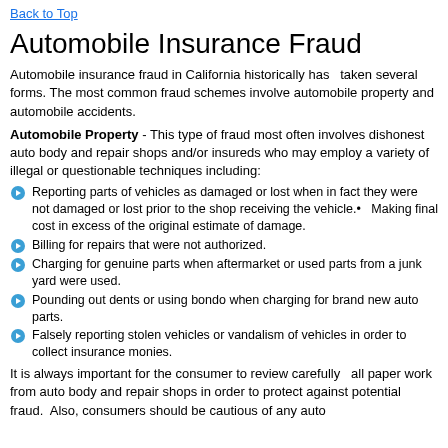Back to Top
Automobile Insurance Fraud
Automobile insurance fraud in California historically has  taken several forms. The most common fraud schemes involve automobile property and automobile accidents.
Automobile Property - This type of fraud most often involves dishonest auto body and repair shops and/or insureds who may employ a variety of illegal or questionable techniques including:
Reporting parts of vehicles as damaged or lost when in fact they were not damaged or lost prior to the shop receiving the vehicle.•   Making final cost in excess of the original estimate of damage.
Billing for repairs that were not authorized.
Charging for genuine parts when aftermarket or used parts from a junk yard were used.
Pounding out dents or using bondo when charging for brand new auto parts.
Falsely reporting stolen vehicles or vandalism of vehicles in order to collect insurance monies.
It is always important for the consumer to review carefully  all paper work from auto body and repair shops in order to protect against potential fraud.  Also, consumers should be cautious of any auto